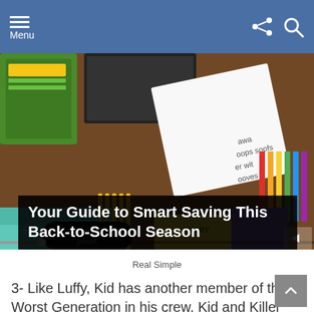Menu
[Figure (photo): Back-to-school supplies on a desk including notebooks, pencils, colored markers, and school items viewed from above]
Your Guide to Smart Saving This Back-to-School Season
Real Simple
3- Like Luffy, Kid has another member of the Worst Generation in his crew. Kid and Killer are childhood friends. Together they formed the Kid Pirates.